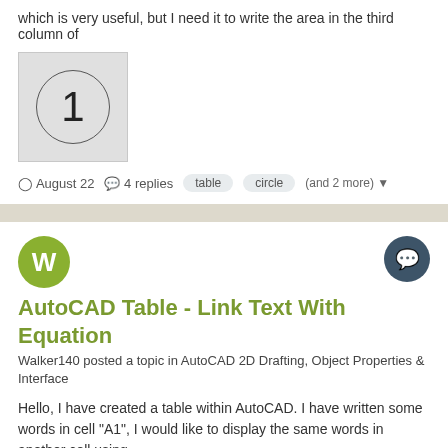which is very useful, but I need it to write the area in the third column of
[Figure (illustration): A gray box containing a circle with the number 1 inside it]
August 22  4 replies  table  circle  (and 2 more)
AutoCAD Table - Link Text With Equation
Walker140 posted a topic in AutoCAD 2D Drafting, Object Properties & Interface
Hello, I have created a table within AutoCAD. I have written some words in cell "A1", I would like to display the same words in another cell using
December 23, 2016  3 replies  1  autocad  fields  (and 2 more)